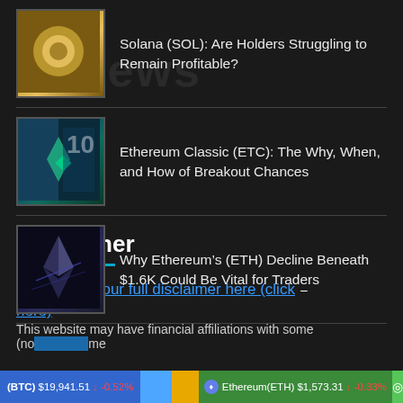Solana (SOL): Are Holders Struggling to Remain Profitable?
Ethereum Classic (ETC): The Why, When, and How of Breakout Chances
Why Ethereum's (ETH) Decline Beneath $1.6K Could Be Vital for Traders
Disclaimer
Please read our full disclaimer here (click here) – This website may have financial affiliations with some (no...me
(BTC) $19,941.51 ↓ -0.52% Ethereum(ETH) $1,573.31 ↓ -0.33%